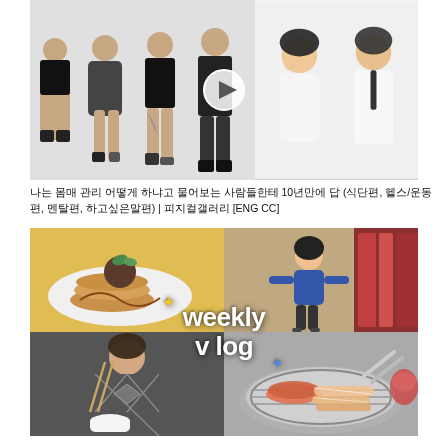[Figure (photo): Video thumbnail showing group of people posing in front of white background (left side) and two people reacting (right side), with a play button overlay in the center]
나는 몸매 관리 어떻게 하냐고 물어보는 사람들한테 10년만에 답 (식단편, 헬스/운동편, 멘탈편, 하고싶은말편) | 피지컬갤러리 [ENG CC]
[Figure (photo): Weekly vlog thumbnail collage: top-left shows a plate of pancakes with ice cream and garnish on yellow tablecloth, top-right shows an anime figurine against book background, bottom-left shows a person in argyle sweater eating with chopsticks, bottom-right shows meat on a Korean BBQ grill. 'weekly vlog' text overlaid in white with sparkle decorations.]